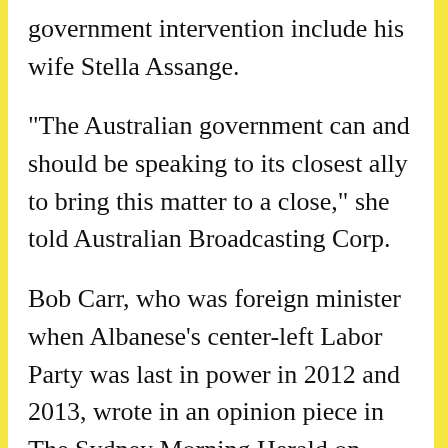government intervention include his wife Stella Assange.
“The Australian government can and should be speaking to its closest ally to bring this matter to a close,” she told Australian Broadcasting Corp.
Bob Carr, who was foreign minister when Albanese’s center-left Labor Party was last in power in 2012 and 2013, wrote in an opinion piece in The Sydney Morning Herald on Monday that an Australian request to drop Assange’s prosecution was “small change” in Australia’s defense alliance with the United